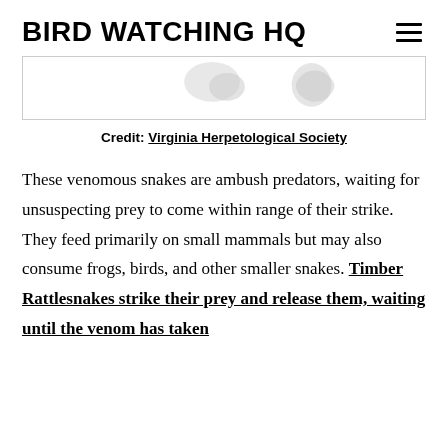BIRD WATCHING HQ
[Figure (photo): Partial image of snake illustrations or photographs, cropped at top of page]
Credit: Virginia Herpetological Society
These venomous snakes are ambush predators, waiting for unsuspecting prey to come within range of their strike. They feed primarily on small mammals but may also consume frogs, birds, and other smaller snakes. Timber Rattlesnakes strike their prey and release them, waiting until the venom has taken